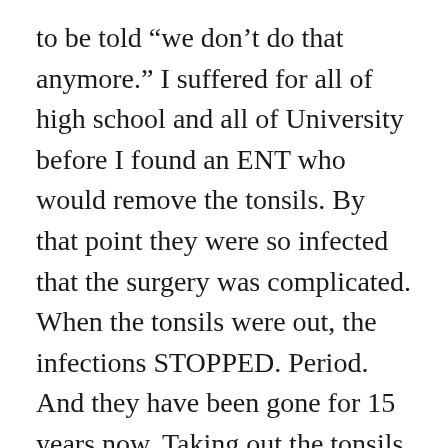to be told “we don’t do that anymore.” I suffered for all of high school and all of University before I found an ENT who would remove the tonsils. By that point they were so infected that the surgery was complicated. When the tonsils were out, the infections STOPPED. Period. And they have been gone for 15 years now. Taking out the tonsils was the best thing a doctor’s ever done for me.
Another example, wisdom teeth – I had four that were impacted and rotting